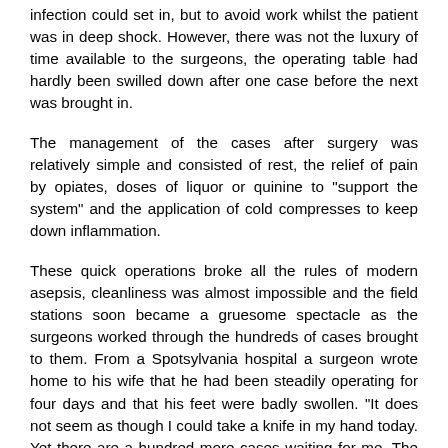infection could set in, but to avoid work whilst the patient was in deep shock. However, there was not the luxury of time available to the surgeons, the operating table had hardly been swilled down after one case before the next was brought in.
The management of the cases after surgery was relatively simple and consisted of rest, the relief of pain by opiates, doses of liquor or quinine to "support the system" and the application of cold compresses to keep down inflammation.
These quick operations broke all the rules of modern asepsis, cleanliness was almost impossible and the field stations soon became a gruesome spectacle as the surgeons worked through the hundreds of cases brought to them. From a Spotsylvania hospital a surgeon wrote home to his wife that he had been steadily operating for four days and that his feet were badly swollen. "It does not seem as though I could take a knife in my hand today. Yet there are a hundred more cases waiting for me. The poor fellows beg for the chance to have an arm or leg taken off. It is a scene of horror as I ever saw."
Pain relief came in the form of opiates; in the state of